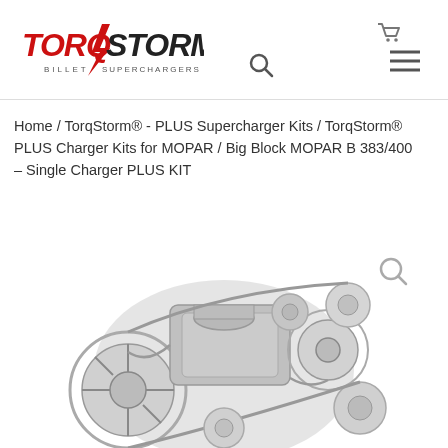[Figure (logo): TorqStorm Billet Superchargers logo with red and black text and lightning bolt]
[Figure (illustration): Search icon (magnifying glass) in header]
[Figure (illustration): Shopping cart icon in header top right]
[Figure (illustration): Hamburger menu icon (three horizontal lines) in header right]
Home / TorqStorm® - PLUS Supercharger Kits / TorqStorm® PLUS Charger Kits for MOPAR / Big Block MOPAR B 383/400 – Single Charger PLUS KIT
[Figure (photo): Grayscale product photo of a supercharger kit with pulleys and belts for MOPAR engine]
[Figure (illustration): Magnifying glass / zoom icon over product image]